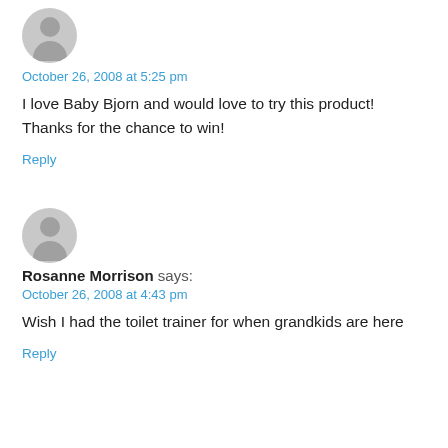[Figure (illustration): Gray circular avatar placeholder with silhouette of a person (head and shoulders), partially visible at top of page]
October 26, 2008 at 5:25 pm
I love Baby Bjorn and would love to try this product! Thanks for the chance to win!
Reply
[Figure (illustration): Gray circular avatar placeholder with silhouette of a person (head and shoulders)]
Rosanne Morrison says:
October 26, 2008 at 4:43 pm
Wish I had the toilet trainer for when grandkids are here
Reply